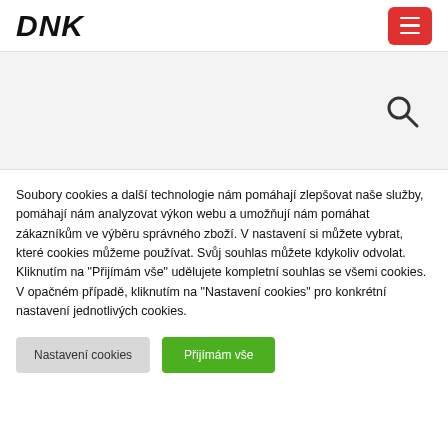DNK
[Figure (other): Search area with magnifying glass icon]
Soubory cookies a další technologie nám pomáhají zlepšovat naše služby, pomáhají nám analyzovat výkon webu a umožňují nám pomáhat zákazníkům ve výběru správného zboží. V nastavení si můžete vybrat, které cookies můžeme používat. Svůj souhlas můžete kdykoliv odvolat. Kliknutím na "Přijímám vše" udělujete kompletní souhlas se všemi cookies. V opačném případě, kliknutím na "Nastavení cookies" pro konkrétní nastavení jednotlivých cookies.
Nastavení cookies
Přijímám vše